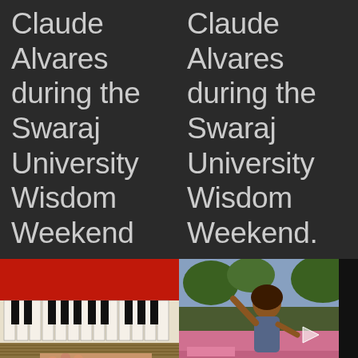Claude Alvares during the Swaraj University Wisdom Weekend
Claude Alvares during the Swaraj University Wisdom Weekend.
[Figure (photo): Close-up photo of a red accordion keyboard with black and white keys, and a hand wearing a watch playing it]
[Figure (photo): Photo of a person outdoors raising their hand, with colorful benches and trees in background, appears to be a video screenshot with a play/forward arrow]
A Week in   Udaan